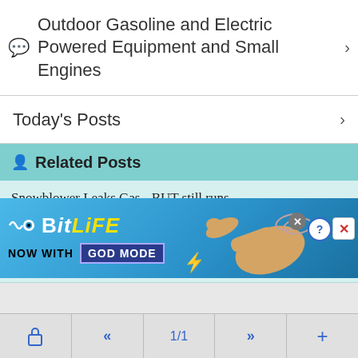Outdoor Gasoline and Electric Powered Equipment and Small Engines
Today's Posts
Related Posts
Snowblower Leaks Gas - BUT still runs
I have a Craftsman snow blower. I'm trying to use it for the first time this se...
5HP Tecumseh problem
Trying to work on a snowblower that sat for a couple years without being ran.Cle...
[Figure (screenshot): BitLife advertisement banner: 'NOW WITH GOD MODE' on a blue background with a pointing hand graphic]
🔒  «  1/1  »  +